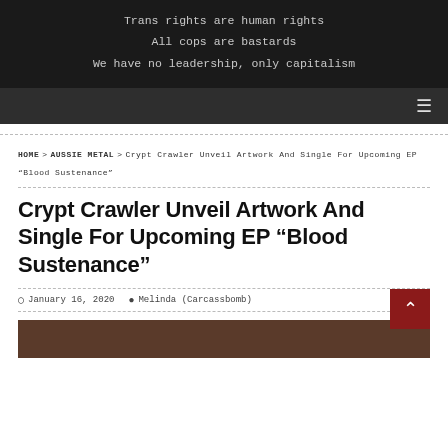Trans rights are human rights
All cops are bastards
We have no leadership, only capitalism
HOME > AUSSIE METAL > Crypt Crawler Unveil Artwork And Single For Upcoming EP “Blood Sustenance”
Crypt Crawler Unveil Artwork And Single For Upcoming EP “Blood Sustenance”
January 16, 2020   Melinda (Carcassbomb)
[Figure (photo): Partial image visible at bottom of page, dark brownish tones, appears to be album or band related imagery]